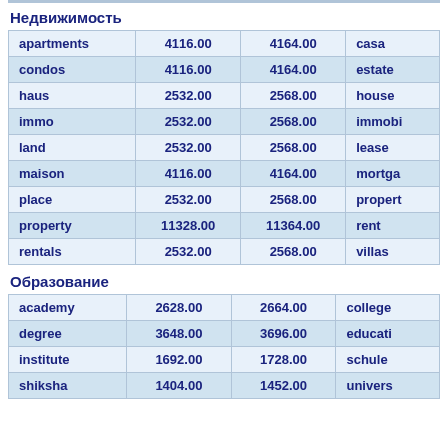Недвижимость
|  |  |  |  |
| --- | --- | --- | --- |
| apartments | 4116.00 | 4164.00 | casa |
| condos | 4116.00 | 4164.00 | estate |
| haus | 2532.00 | 2568.00 | house |
| immo | 2532.00 | 2568.00 | immobi |
| land | 2532.00 | 2568.00 | lease |
| maison | 4116.00 | 4164.00 | mortga |
| place | 2532.00 | 2568.00 | propert |
| property | 11328.00 | 11364.00 | rent |
| rentals | 2532.00 | 2568.00 | villas |
Образование
|  |  |  |  |
| --- | --- | --- | --- |
| academy | 2628.00 | 2664.00 | college |
| degree | 3648.00 | 3696.00 | educati |
| institute | 1692.00 | 1728.00 | schule |
| shiksha | 1404.00 | 1452.00 | univers |